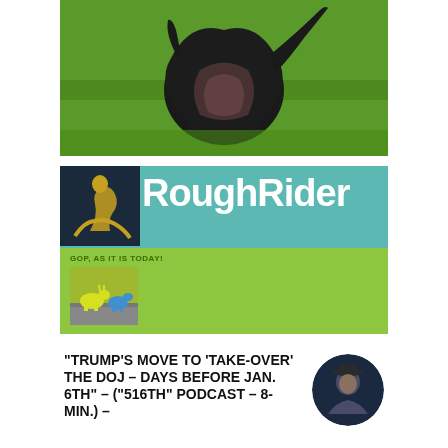[Figure (photo): Dark dog from behind on green grass, tail raised]
[Figure (illustration): RoughRider banner with logo image, title 'RoughRider' and username 'NiteRydr' on teal background]
GOP, AS IT IS TODAY!
[Figure (photo): Small toy donkeys on a car dashboard]
“TRUMP’S MOVE TO ‘TAKE-OVER’ THE DOJ – DAYS BEFORE JAN. 6TH” – (“516th” PODCAST – 8-Min.) –
[Figure (photo): Circular thumbnail of a person wearing a hat]